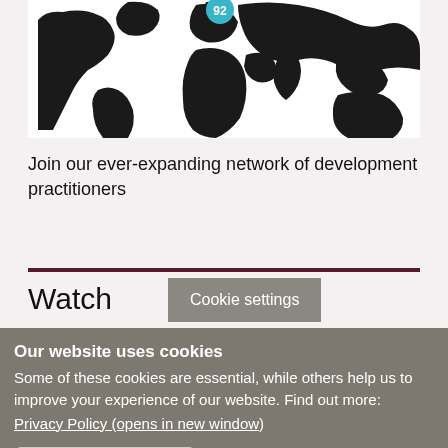[Figure (map): World map in black and white with a teal/blue circular badge showing '92' over northern Europe/Scandinavia region]
Join our ever-expanding network of development practitioners
Watch
Cookie settings
Our website uses cookies
Some of these cookies are essential, while others help us to improve your experience of our website. Find out more:
Privacy Policy (opens in new window)
Accept all cookies
Manage cookies